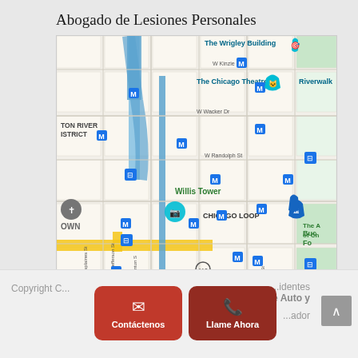Abogado de Lesiones Personales
[Figure (map): Google Maps view of downtown Chicago Loop area showing Willis Tower, The Wrigley Building, The Chicago Theatre, Riverwalk, and various M (metro) transit markers. Streets visible include W Kinzie St, W Wacker Dr, W Randolph St, W Harrison St, S Jefferson St, S Clinton St, S Desplaines St, S State St, S Michigan Ave.]
Copyright C... identes de Auto y ... ador
Contáctenos
Llame Ahora